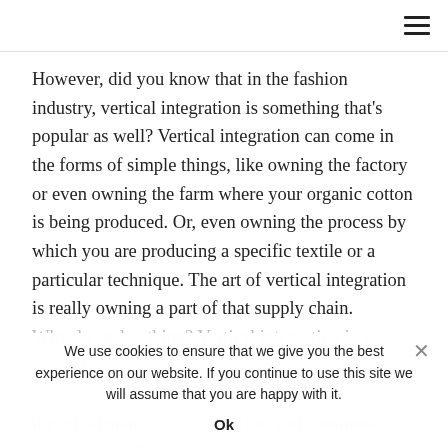[hamburger menu icon]
However, did you know that in the fashion industry, vertical integration is something that's popular as well? Vertical integration can come in the forms of simple things, like owning the factory or even owning the farm where your organic cotton is being produced. Or, even owning the process by which you are producing a specific textile or a particular technique. The art of vertical integration is really owning a part of that supply chain.
Why do such a thing? Vertical integration is a fantastic... the middleman. You... part of your business that you actually want to be doing
We use cookies to ensure that we give you the best experience on our website. If you continue to use this site we will assume that you are happy with it. Ok